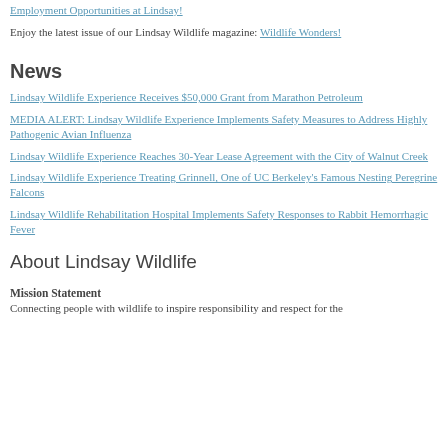Employment Opportunities at Lindsay!
Enjoy the latest issue of our Lindsay Wildlife magazine: Wildlife Wonders!
News
Lindsay Wildlife Experience Receives $50,000 Grant from Marathon Petroleum
MEDIA ALERT: Lindsay Wildlife Experience Implements Safety Measures to Address Highly Pathogenic Avian Influenza
Lindsay Wildlife Experience Reaches 30-Year Lease Agreement with the City of Walnut Creek
Lindsay Wildlife Experience Treating Grinnell, One of UC Berkeley's Famous Nesting Peregrine Falcons
Lindsay Wildlife Rehabilitation Hospital Implements Safety Responses to Rabbit Hemorrhagic Fever
About Lindsay Wildlife
Mission Statement
Connecting people with wildlife to inspire responsibility and respect for the